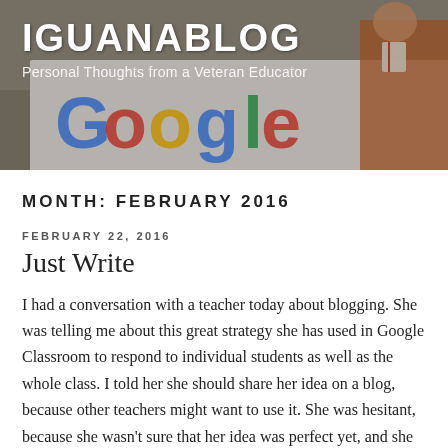[Figure (photo): Blog header banner showing a Google logo sign in the background with a person in an orange shirt visible on the right side. The banner has a dark overlay with the blog title and tagline overlaid.]
IGUANABLOG
Personal Thoughts from a Veteran Educator
MONTH: FEBRUARY 2016
FEBRUARY 22, 2016
Just Write
I had a conversation with a teacher today about blogging. She was telling me about this great strategy she has used in Google Classroom to respond to individual students as well as the whole class. I told her she should share her idea on a blog, because other teachers might want to use it. She was hesitant, because she wasn't sure that her idea was perfect yet, and she didn't know the right tone or approach to take in a b